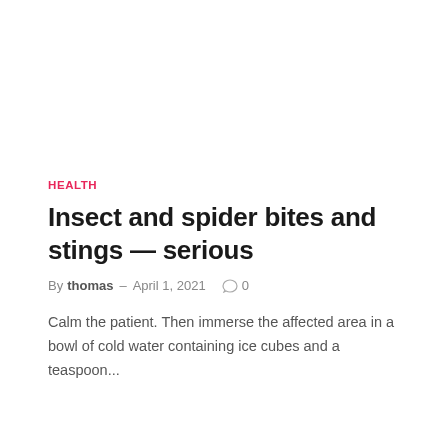HEALTH
Insect and spider bites and stings — serious
By thomas – April 1, 2021  ○ 0
Calm the patient. Then immerse the affected area in a bowl of cold water containing ice cubes and a teaspoon...